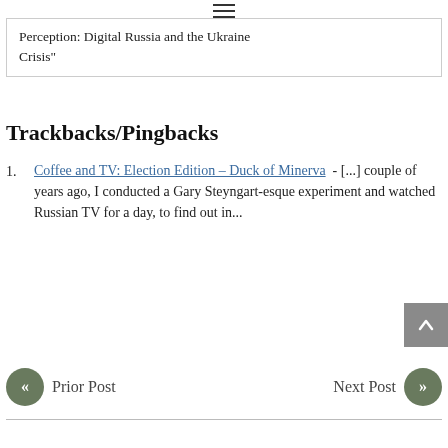Perception: Digital Russia and the Ukraine Crisis"
Trackbacks/Pingbacks
Coffee and TV: Election Edition – Duck of Minerva - [...] couple of years ago, I conducted a Gary Steyngart-esque experiment and watched Russian TV for a day, to find out in...
Prior Post   Next Post